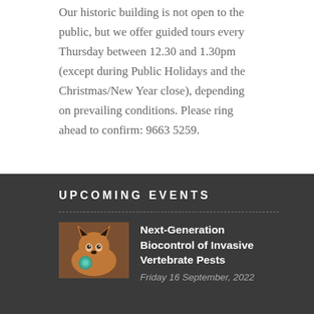Our historic building is not open to the public, but we offer guided tours every Thursday between 12.30 and 1.30pm (except during Public Holidays and the Christmas/New Year close), depending on prevailing conditions. Please ring ahead to confirm: 9663 5259.
UPCOMING EVENTS
[Figure (photo): Photo of a fox or similar animal with a teal/blue circular object, used as event thumbnail]
Next-Generation Biocontrol of Invasive Vertebrate Pests
Friday 16 September, 2022